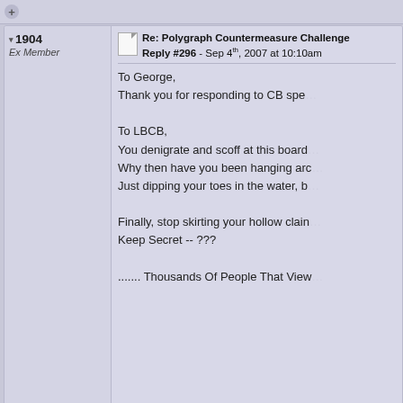+ (top button)
1904 - Ex Member
Re: Polygraph Countermeasure Challenge
Reply #296 - Sep 4th, 2007 at 10:10am
To George,
Thank you for responding to CB spe...

To LBCB,
You denigrate and scoff at this board...
Why then have you been hanging aro...
Just dipping your toes in the water, b...

Finally, stop skirting your hollow clai...
Keep Secret -- ???

....... Thousands Of People That View...
LieBabyCryBaby - Very Senior User
Re: Polygraph Countermeasure Challenge
Reply #297 - Sep 6th, 2007 at 12:50pm